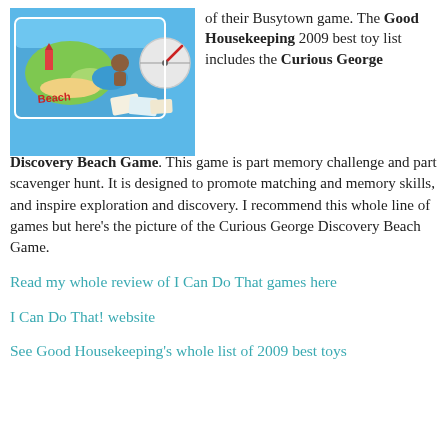[Figure (photo): Photo of the Curious George Discovery Beach Game box and game pieces on a blue background with beach/island imagery]
of their Busytown game. The Good Housekeeping 2009 best toy list includes the Curious George Discovery Beach Game. This game is part memory challenge and part scavenger hunt. It is designed to promote matching and memory skills, and inspire exploration and discovery. I recommend this whole line of games but here's the picture of the Curious George Discovery Beach Game.
Read my whole review of I Can Do That games here
I Can Do That! website
See Good Housekeeping's whole list of 2009 best toys